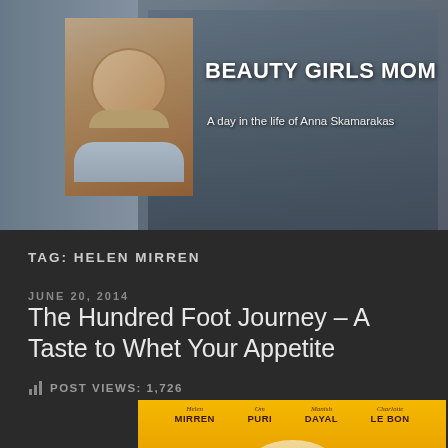[Figure (photo): Blog header banner showing woman with short blonde hair (avatar) on left, three women wearing sunglasses in background on right side. Dark overlay on photo.]
BEAUTY GIRLS MOM
A day in the life of Anna Skamarakas
TAG: HELEN MIRREN
JUNE 20, 2014
The Hundred Foot Journey – A Taste to Whet Your Appetite
POST VIEWS: 1,726
[Figure (photo): Movie poster for The Hundred Foot Journey on orange/yellow background. Cast names shown: Helen MIRREN, Om PURI, Manish DAYAL, Charlotte LE BON. Figures of actors visible at bottom.]